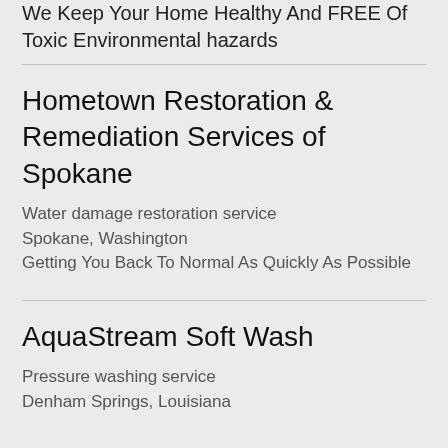We Keep Your Home Healthy And FREE Of Toxic Environmental hazards
Hometown Restoration & Remediation Services of Spokane
Water damage restoration service
Spokane, Washington
Getting You Back To Normal As Quickly As Possible
AquaStream Soft Wash
Pressure washing service
Denham Springs, Louisiana